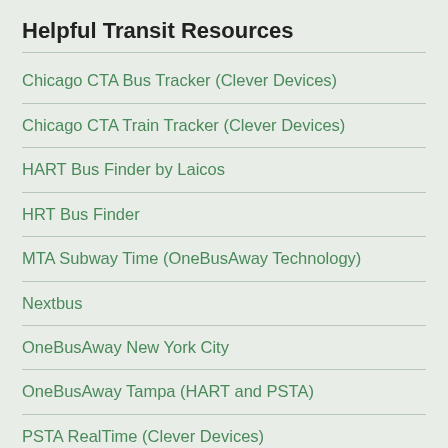Helpful Transit Resources
Chicago CTA Bus Tracker (Clever Devices)
Chicago CTA Train Tracker (Clever Devices)
HART Bus Finder by Laicos
HRT Bus Finder
MTA Subway Time (OneBusAway Technology)
Nextbus
OneBusAway New York City
OneBusAway Tampa (HART and PSTA)
PSTA RealTime (Clever Devices)